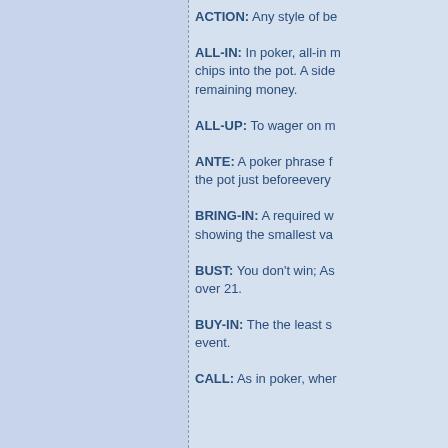ACTION: Any style of be
ALL-IN: In poker, all-in means a player bets all of their chips into the pot. A side pot is created for the remaining money.
ALL-UP: To wager on m
ANTE: A poker phrase f the pot just beforeevery
BRING-IN: A required w showing the smallest va
BUST: You don't win; As over 21.
BUY-IN: The the least s event.
CALL: As in poker, wher